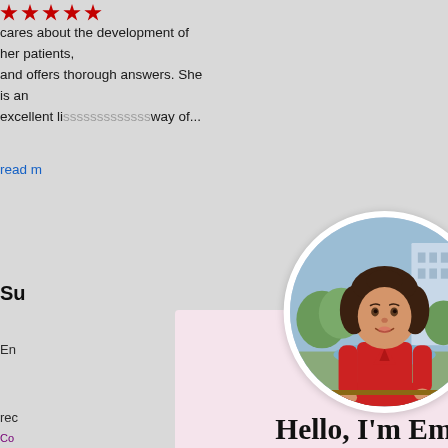cares about the development of her patients, and offers thorough answers. She is an excellent li...way of...
read m...
Su...
En...id
rec...
Joi...
Em...
Su...
Co...4-
[Figure (screenshot): A popup modal with a circular profile photo of a woman named Emily wearing a red shirt, on a pink background. The modal contains the greeting 'Hello, I'm Emily!', a description about staying up-to-date on news and resources like the Playing With Purpose book, and two input fields for First Name and Email. There is a close (X) button in the top right corner.]
Hello, I'm Emily!
Want to stay up-to-date on all my news and resources like the Playing With Purpose book?
Your First Name
Your Email